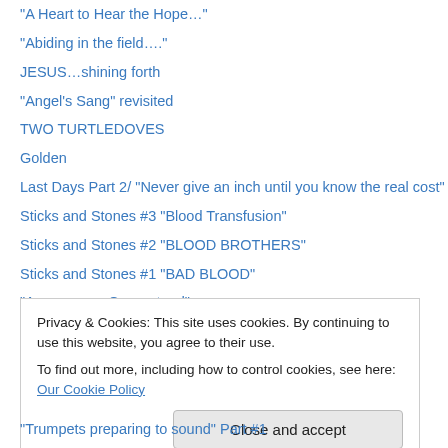“A Heart to Hear the Hope…”
“Abiding in the field….”
JESUS…shining forth
“Angel’s Sang” revisited
TWO TURTLEDOVES
Golden
Last Days Part 2/ “Never give an inch until you know the real cost”
Sticks and Stones #3 “Blood Transfusion”
Sticks and Stones #2 “BLOOD BROTHERS”
Sticks and Stones #1 “BAD BLOOD”
“Assurance…Guaranteed”
“IN HIM” SCRIPTURAL EXCERPT
“Covered, higher than I…”
Privacy & Cookies: This site uses cookies. By continuing to use this website, you agree to their use. To find out more, including how to control cookies, see here: Our Cookie Policy
Close and accept
“Trumpets preparing to sound” Part #1